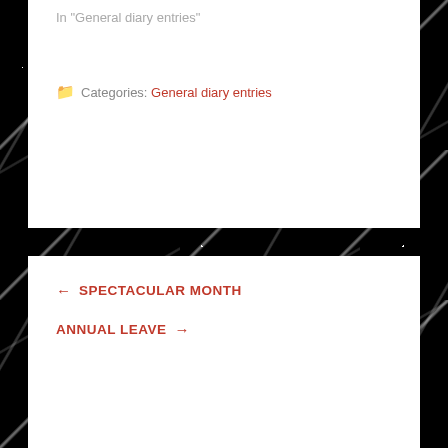In "General diary entries"
Categories: General diary entries
← SPECTACULAR MONTH
ANNUAL LEAVE →
Leave a Reply
Your email address will not be published. Required fields are marked *
COMMENT *